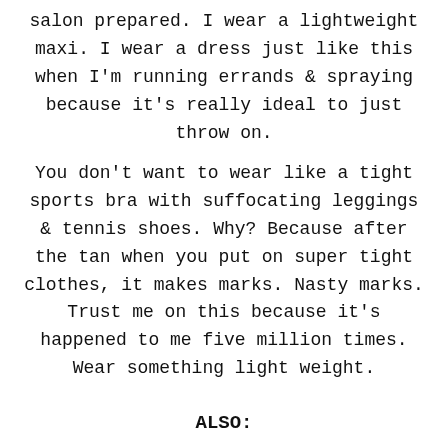salon prepared. I wear a lightweight maxi. I wear a dress just like this when I'm running errands & spraying because it's really ideal to just throw on.
You don't want to wear like a tight sports bra with suffocating leggings & tennis shoes. Why? Because after the tan when you put on super tight clothes, it makes marks. Nasty marks. Trust me on this because it's happened to me five million times. Wear something light weight.
ALSO: